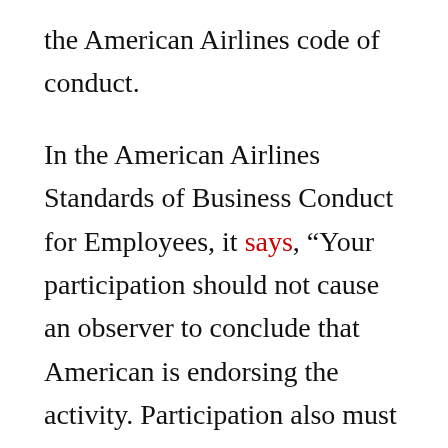the American Airlines code of conduct.
In the American Airlines Standards of Business Conduct for Employees, it says, “Your participation should not cause an observer to conclude that American is endorsing the activity. Participation also must not impede your ability to perform your job. And you may not pursue personal interests when you are required or expected to perform your duties and responsibilities for America.”
The tag on the luggage certainly doesn’t imply that Americans are endorsing the activity. It